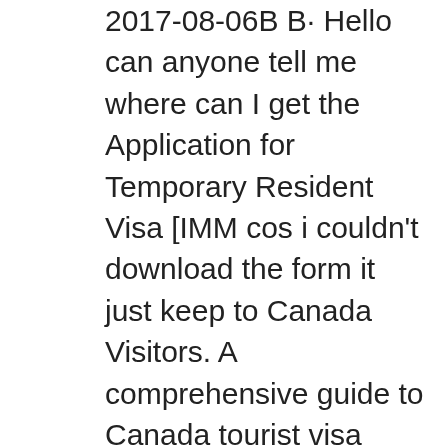2017-08-06B B· Hello can anyone tell me where can I get the Application for Temporary Resident Visa [IMM cos i couldn't download the form it just keep to Canada Visitors. A comprehensive guide to Canada tourist visa requirements, application process and documentation. Download all Canada visa application forms;
a genuine visitor to Canada who will leave by In order to obtain a Parent and Grandparent Super Visa, certain additional documents to support your application. 2015-07-19B B· Home Forums Temporary Entry to Canada Visitors. (Application for Temporary Resident Visa Made Outside of Canada)